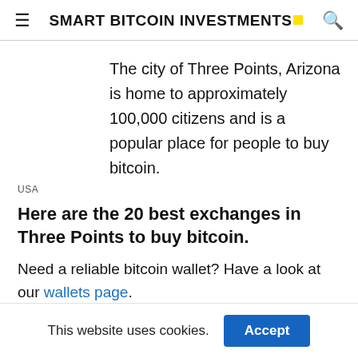SMART BITCOIN INVESTMENTS
The city of Three Points, Arizona is home to approximately 100,000 citizens and is a popular place for people to buy bitcoin.
USA
Here are the 20 best exchanges in Three Points to buy bitcoin.
Need a reliable bitcoin wallet? Have a look at our wallets page.
This website uses cookies.  Accept